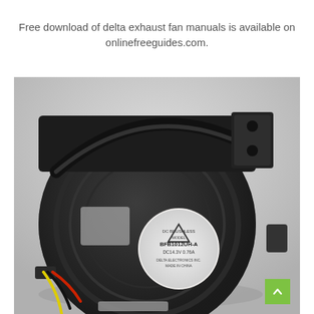Free download of delta exhaust fan manuals is available on onlinefreeguides.com.
[Figure (photo): A black Delta brushless DC blower fan (model BFB1012UH-A, DC 14.3V, 0.76A) photographed from the back, showing the circular fan housing with a label in the center, mounting bracket at top right, and colored wire leads (red, black, yellow) at the bottom left. The background is light gray.]